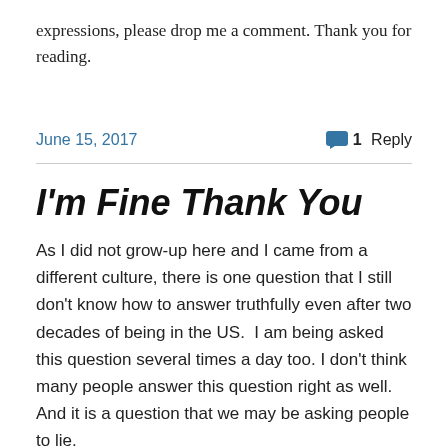expressions, please drop me a comment. Thank you for reading.
June 15, 2017    1 Reply
I'm Fine Thank You
As I did not grow-up here and I came from a different culture, there is one question that I still don't know how to answer truthfully even after two decades of being in the US.  I am being asked this question several times a day too. I don't think many people answer this question right as well. And it is a question that we may be asking people to lie.